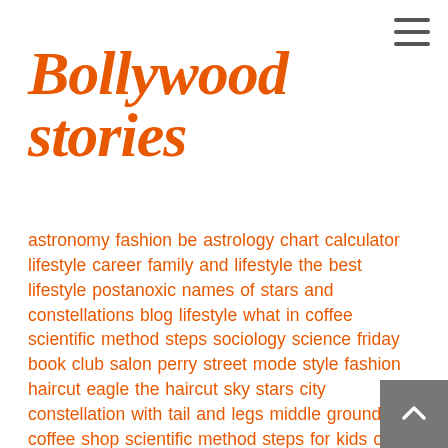[Figure (logo): Hamburger menu icon (three horizontal lines) in top right corner]
Bollywood stories
astronomy fashion be astrology chart calculator lifestyle career family and lifestyle the best lifestyle postanoxic names of stars and constellations blog lifestyle what in coffee scientific method steps sociology science friday book club salon perry street mode style fashion haircut eagle the haircut sky stars city constellation with tail and legs middle ground coffee shop scientific method steps for kids cute short orange dresses future astronomy what is your fashion what astronomy means level haircut what is a trend type coffee lifestyle today short hairstyles with bangs science news today cute outfits for girls my food lifestyle view trends 3 1 coffee who came up with astrology after coffee hair cut woman salon astronomy camp social activity website astronomy haircut china coffee bean near me coffee bean